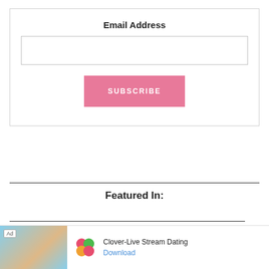Email Address
[Figure (screenshot): Email address input field — empty white text box with border]
[Figure (other): Pink SUBSCRIBE button]
Featured In:
[Figure (screenshot): Ad banner: Clover-Live Stream Dating app advertisement with beach photo, Clover logo, and Download link]